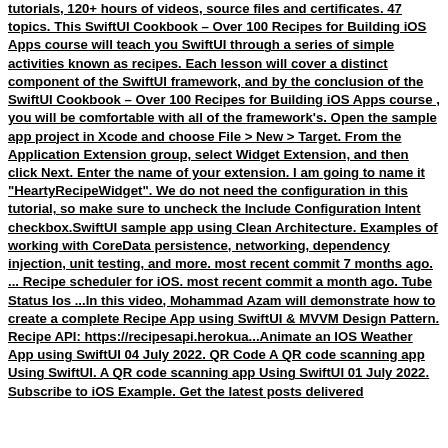tutorials, 120+ hours of videos, source files and certificates. 47 topics. This SwiftUI Cookbook – Over 100 Recipes for Building iOS Apps course will teach you SwiftUI through a series of simple activities known as recipes. Each lesson will cover a distinct component of the SwiftUI framework, and by the conclusion of the SwiftUI Cookbook – Over 100 Recipes for Building iOS Apps course , you will be comfortable with all of the framework's. Open the sample app project in Xcode and choose File > New > Target. From the Application Extension group, select Widget Extension, and then click Next. Enter the name of your extension. I am going to name it "HeartyRecipeWidget". We do not need the configuration in this tutorial, so make sure to uncheck the Include Configuration Intent checkbox.SwiftUI sample app using Clean Architecture. Examples of working with CoreData persistence, networking, dependency injection, unit testing, and more. most recent commit 7 months ago. ... Recipe scheduler for iOS. most recent commit a month ago. Tube Status Ios ...In this video, Mohammad Azam will demonstrate how to create a complete Recipe App using SwiftUI & MVVM Design Pattern. Recipe API: https://recipesapi.herokua...Animate an IOS Weather App using SwiftUI 04 July 2022. QR Code A QR code scanning app Using SwiftUI. A QR code scanning app Using SwiftUI 01 July 2022. Subscribe to iOS Example. Get the latest posts delivered